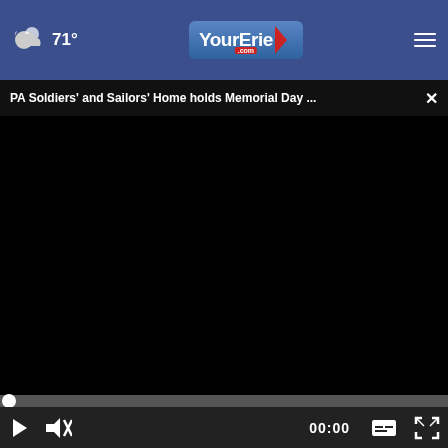71° YourErie.com
PA Soldiers' and Sailors' Home holds Memorial Day ...
[Figure (screenshot): Black video player area, currently blank/loading]
[Figure (screenshot): Video player controls bar: play button, mute button, timestamp 00:00, caption button, fullscreen button]
[Figure (photo): Thumbnail image of a person in grayscale, possibly elderly person in formal setting]
[Figure (screenshot): Advertisement banner: Veterans, you're not alone. with image of person at table]
Veterans, you're not alone.